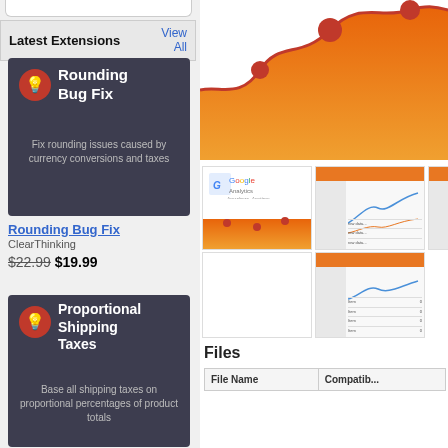Latest Extensions
[Figure (screenshot): Rounding Bug Fix extension card - dark background with light bulb icon and title]
Rounding Bug Fix
ClearThinking
$22.99 $19.99
[Figure (screenshot): Proportional Shipping Taxes extension card - dark background with light bulb icon and title]
[Figure (area-chart): Orange area chart with line and dots - analytics style chart]
[Figure (screenshot): Google Analytics logo thumbnail]
[Figure (screenshot): Analytics dashboard screenshot thumbnail]
[Figure (screenshot): Partial analytics screenshot thumbnail]
[Figure (screenshot): Blank/empty thumbnail]
[Figure (screenshot): Analytics graph screenshot thumbnail]
Files
| File Name | Compatib... |
| --- | --- |